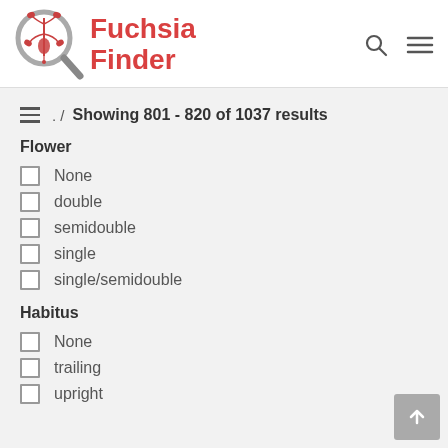[Figure (logo): FuchsiaFinder logo with a magnifying glass containing a fuchsia flower illustration, red text 'Fuchsia Finder']
≡  . /  Showing 801 - 820 of 1037 results
Flower
None
double
semidouble
single
single/semidouble
Habitus
None
trailing
upright